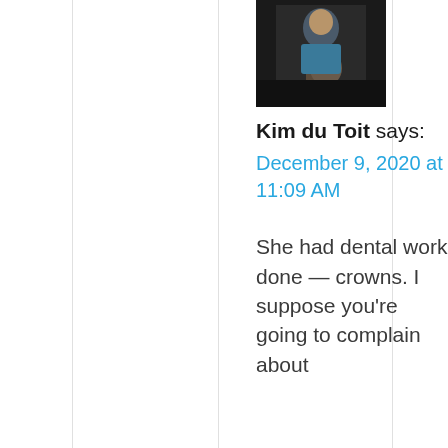[Figure (photo): Avatar photo of a person playing guitar in dark lighting]
Kim du Toit says:
December 9, 2020 at 11:09 AM
She had dental work done — crowns. I suppose you're going to complain about